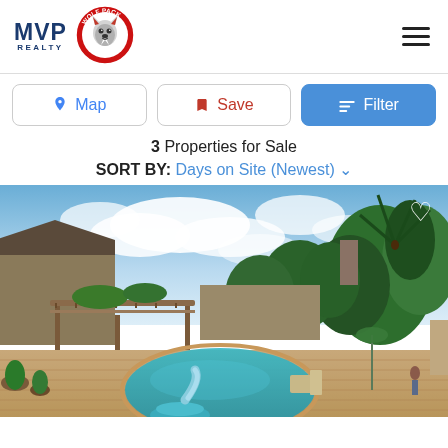[Figure (logo): MVP Realty logo and Wolf Pack badge in header]
Map
Save
Filter
3 Properties for Sale
SORT BY: Days on Site (Newest)
[Figure (photo): Backyard photo of a home with a kidney-shaped swimming pool, brick patio, pergola, lush tropical trees and cloudy sky]